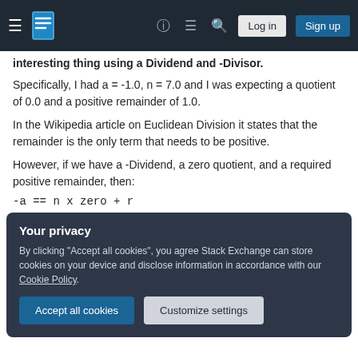Stack Exchange navigation bar with hamburger menu, logo, help, chat, search, Log in, Sign up
...nteresting thing using a Dividend and -Divisor. Specifically, I had a = -1.0, n = 7.0 and I was expecting a quotient of 0.0 and a positive remainder of 1.0.
In the Wikipedia article on Euclidean Division it states that the remainder is the only term that needs to be positive.
However, if we have a -Dividend, a zero quotient, and a required positive remainder, then:
Your privacy
By clicking "Accept all cookies", you agree Stack Exchange can store cookies on your device and disclose information in accordance with our Cookie Policy.
Accept all cookies | Customize settings